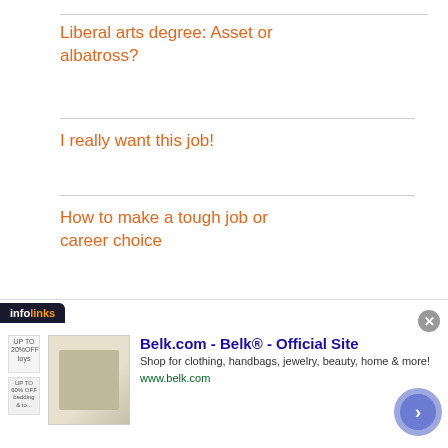Liberal arts degree: Asset or albatross?
I really want this job!
How to make a tough job or career choice
Open Mic: What's your job search problem?
[Figure (screenshot): Infolinks advertisement banner for Belk.com showing 'Belk® - Official Site' with tagline 'Shop for clothing, handbags, jewelry, beauty, home & more!' and URL www.belk.com, with close button and navigation arrow]